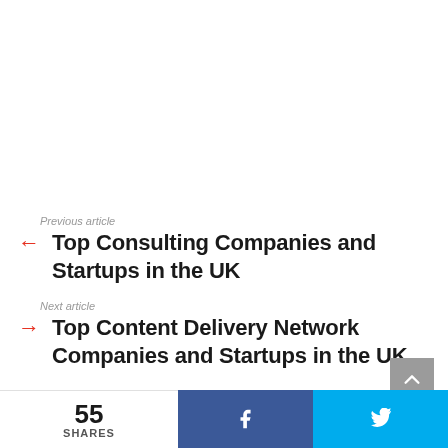Previous article
Top Consulting Companies and Startups in the UK
Next article
Top Content Delivery Network Companies and Startups in the UK
55 SHARES